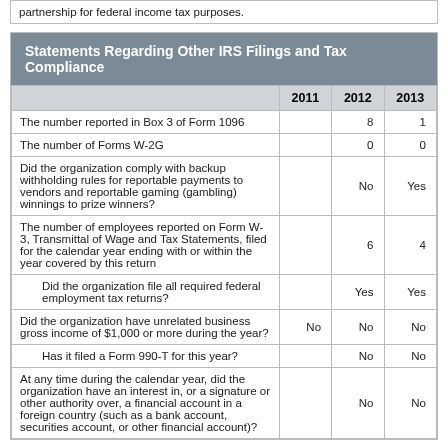partnership for federal income tax purposes.
|  | 2011 | 2012 | 2013 |
| --- | --- | --- | --- |
| The number reported in Box 3 of Form 1096 |  | 8 | 1 |
| The number of Forms W-2G |  | 0 | 0 |
| Did the organization comply with backup withholding rules for reportable payments to vendors and reportable gaming (gambling) winnings to prize winners? |  | No | Yes |
| The number of employees reported on Form W-3, Transmittal of Wage and Tax Statements, filed for the calendar year ending with or within the year covered by this return |  | 6 | 4 |
| Did the organization file all required federal employment tax returns? |  | Yes | Yes |
| Did the organization have unrelated business gross income of $1,000 or more during the year? | No | No | No |
| Has it filed a Form 990-T for this year? |  | No | No |
| At any time during the calendar year, did the organization have an interest in, or a signature or other authority over, a financial account in a foreign country (such as a bank account, securities account, or other financial account)? |  | No | No |